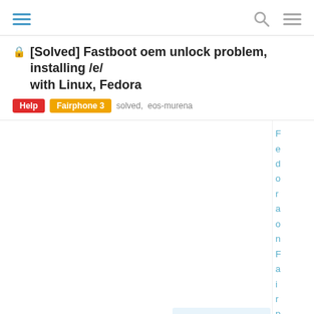navigation bar with hamburger menu, search, and menu icons
[Solved] Fastboot oem unlock problem, installing /e/ with Linux, Fedora
Help  Fairphone 3  solved, eos-murena
7 / 9